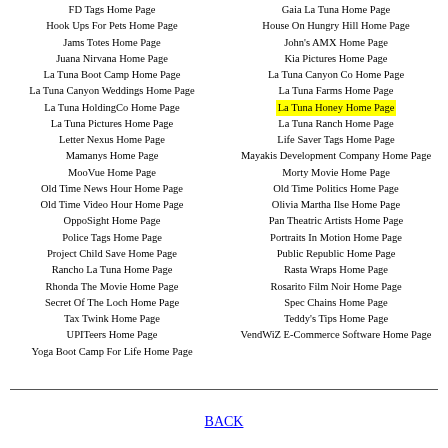FD Tags Home Page
Gaia La Tuna Home Page
Hook Ups For Pets Home Page
House On Hungry Hill Home Page
Jams Totes Home Page
John's AMX Home Page
Juana Nirvana Home Page
Kia Pictures Home Page
La Tuna Boot Camp Home Page
La Tuna Canyon Co Home Page
La Tuna Canyon Weddings Home Page
La Tuna Farms Home Page
La Tuna HoldingCo Home Page
La Tuna Honey Home Page [highlighted]
La Tuna Pictures Home Page
La Tuna Ranch Home Page
Letter Nexus Home Page
Life Saver Tags Home Page
Mamanys Home Page
Mayakis Development Company Home Page
MooVue Home Page
Morty Movie Home Page
Old Time News Hour Home Page
Old Time Politics Home Page
Old Time Video Hour Home Page
Olivia Martha Ilse Home Page
OppoSight Home Page
Pan Theatric Artists Home Page
Police Tags Home Page
Portraits In Motion Home Page
Project Child Save Home Page
Public Republic Home Page
Rancho La Tuna Home Page
Rasta Wraps Home Page
Rhonda The Movie Home Page
Rosarito Film Noir Home Page
Sa...
Secret Of The Loch Home Page
Spec Chains Home Page
Tax Twink Home Page
Teddy's Tips Home Page
UPITeers Home Page
VendWiZ E-Commerce Software Home Page
Yoga Boot Camp For Life Home Page
BACK